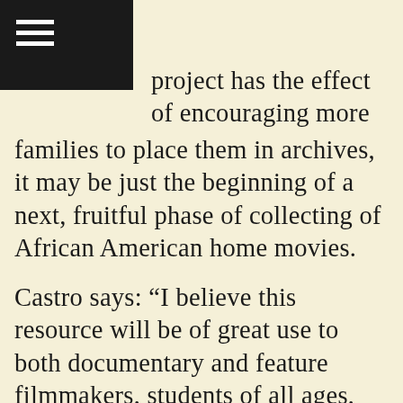≡
project has the effect of encouraging more families to place them in archives, it may be just the beginning of a next, fruitful phase of collecting of African American home movies.
Castro says: “I believe this resource will be of great use to both documentary and feature filmmakers, students of all ages, other moving image archivists, researchers, scholars and enthusiasts. These home movie collections can provide a more accurate depiction of African-American culture and activities, while also supplying a diverse representation of a minority group that was often recorded or filmed in the context of slavery, segregation, civil rights, the black power movement and race